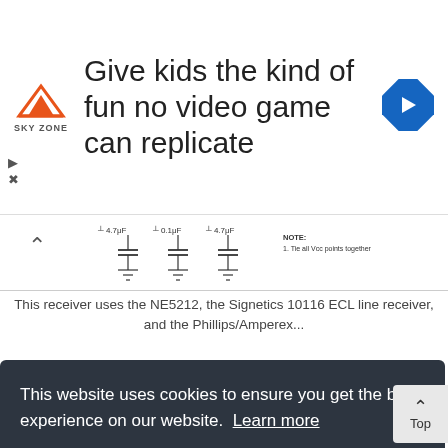[Figure (screenshot): Advertisement banner: Sky Zone logo on left, headline 'Give kids the kind of fun no video game can replicate', blue diamond arrow icon on right]
[Figure (circuit-diagram): Partial circuit diagram showing capacitors, ground symbols, and a NOTE about tying points together]
This receiver uses the NE5212, the Signetics 10116 ECL line receiver, and the Phillips/Amperex...
Temperature-controuer
[Figure (circuit-diagram): Temperature controller circuit diagram showing +15V supply, 100k resistors, 100M resistor, 0.02 capacitor, op-amp, and other components]
This website uses cookies to ensure you get the best experience on our website. Learn more
Got it!